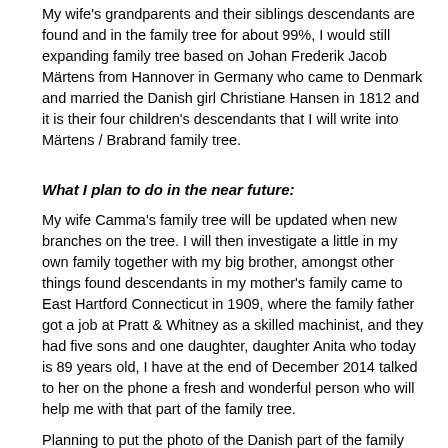My wife's grandparents and their siblings descendants are found and in the family tree for about 99%, I would still expanding family tree based on Johan Frederik Jacob Märtens from Hannover in Germany who came to Denmark and married the Danish girl Christiane Hansen in 1812 and it is their four children's descendants that I will write into Märtens / Brabrand family tree.
What I plan to do in the near future:
My wife Camma's family tree will be updated when new branches on the tree. I will then investigate a little in my own family together with my big brother, amongst other things found descendants in my mother's family came to East Hartford Connecticut in 1909, where the family father got a job at Pratt & Whitney as a skilled machinist, and they had five sons and one daughter, daughter Anita who today is 89 years old, I have at the end of December 2014 talked to her on the phone a fresh and wonderful person who will help me with that part of the family tree.
Planning to put the photo of the Danish part of the family Martens on the website:
NEW Photo:   Photo from Einar and Anna Märtens part of